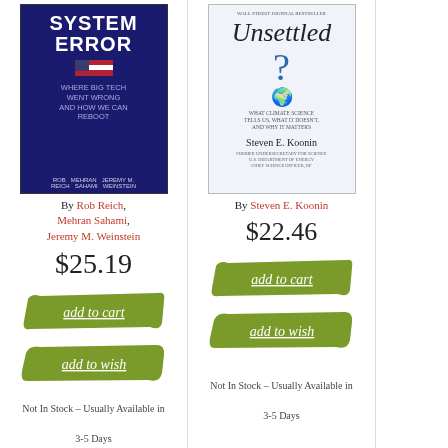[Figure (photo): Book cover: System Error – Where Big Tech Went Wrong and How We Can Reboot, by Rob Reich, Mehran Sahami, Jeremy M. Weinstein. Dark navy blue cover.]
By Rob Reich, Mehran Sahami, Jeremy M. Weinstein
$25.19
[Figure (other): Green brushstroke button: add to cart]
[Figure (other): Green brushstroke button: add to wish]
Not In Stock – Usually Available in 3-5 Days
[Figure (photo): Book cover: Unsettled – What Climate Science Tells Us, What It Doesn't, and Why It Matters, by Steven E. Koonin. White cover with blue question mark and globe.]
By Steven E. Koonin
$22.46
[Figure (other): Green brushstroke button: add to cart]
[Figure (other): Green brushstroke button: add to wish]
Not In Stock – Usually Available in 3-5 Days